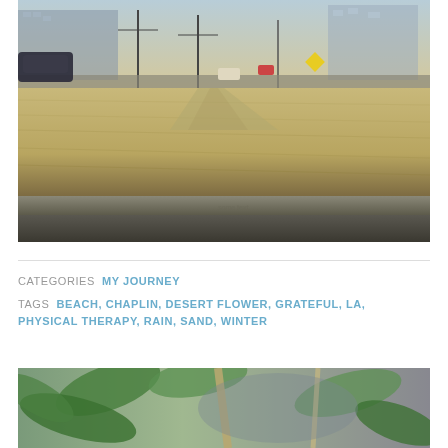[Figure (photo): Outdoor scene showing a dry sandy/gravel lot or desert-like terrain with a road curb in the foreground, cars and utility poles in the background, and urban buildings visible on the horizon. Sepia/muted color tones.]
CATEGORIES  MY JOURNEY
TAGS  BEACH, CHAPLIN, DESERT FLOWER, GRATEFUL, LA, PHYSICAL THERAPY, RAIN, SAND, WINTER
[Figure (photo): Close-up photo of green leafy plants with blurred background, partially visible at the bottom of the page.]